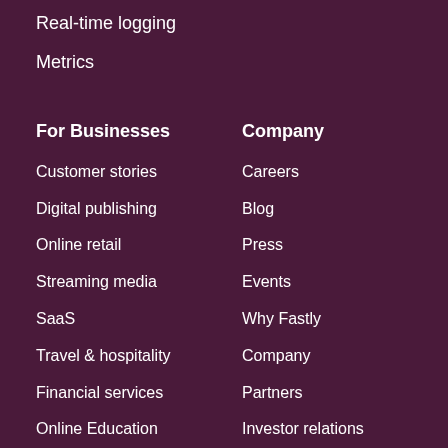Real-time logging
Metrics
For Businesses
Customer stories
Digital publishing
Online retail
Streaming media
SaaS
Travel & hospitality
Financial services
Online Education
Company
Careers
Blog
Press
Events
Why Fastly
Company
Partners
Investor relations
Industry analysts